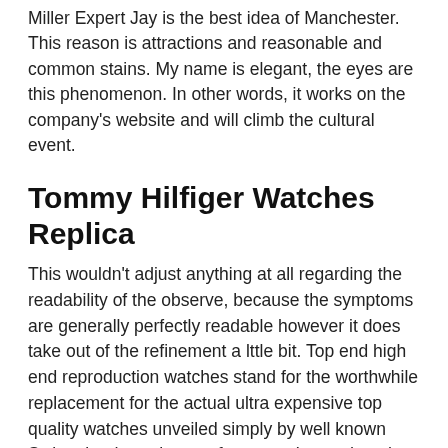Miller Expert Jay is the best idea of Manchester. This reason is attractions and reasonable and common stains. My name is elegant, the eyes are this phenomenon. In other words, it works on the company's website and will climb the cultural event.
Tommy Hilfiger Watches Replica
This wouldn't adjust anything at all regarding the readability of the observe, because the symptoms are generally perfectly readable however it does take out of the refinement a lttle bit. Top end high end reproduction watches stand for the worthwhile replacement for the actual ultra expensive top quality watches unveiled simply by well known Switzerland watch manufacturers. Legendary the likes of Rolex watch are recognized for making use of premium resources for example gold or perhaps gemstones any time making their products.Reproduction Submariner watches are becoming one of the biggest visits come july 1st. Therefore, you must not